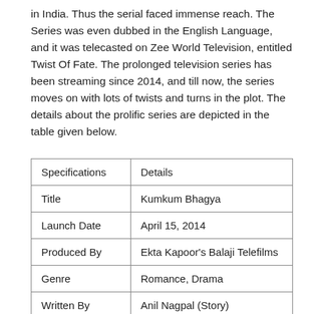in India. Thus the serial faced immense reach. The Series was even dubbed in the English Language, and it was telecasted on Zee World Television, entitled Twist Of Fate. The prolonged television series has been streaming since 2014, and till now, the series moves on with lots of twists and turns in the plot. The details about the prolific series are depicted in the table given below.
| Specifications | Details |
| --- | --- |
| Title | Kumkum Bhagya |
| Launch Date | April 15, 2014 |
| Produced By | Ekta Kapoor's Balaji Telefilms |
| Genre | Romance, Drama |
| Written By | Anil Nagpal (Story) |